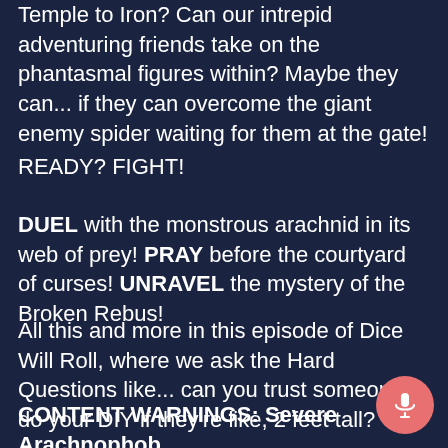Temple to Iron? Can our intrepid adventuring friends take on the phantasmal figures within? Maybe they can... if they can overcome the giant enemy spider waiting for them at the gate!
READY? FIGHT!
DUEL with the monstrous arachnid in its web of prey! PRAY before the courtyard of curses! UNRAVEL the mystery of the Broken Rebus!
All this and more in this episode of Dice Will Roll, where we ask the Hard Questions like... can you trust someone to do your DIY if they're like, 2 feet tall?
CONTENT WARNINGS: Severe Arachnophob… Constant References to Death, Grandpa Lolo Fuckin That Sandwich, Being a Reference to Dumbeni